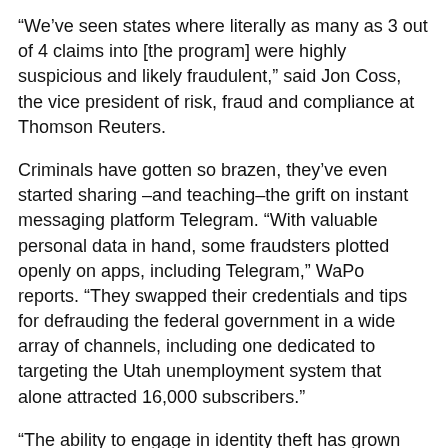“We’ve seen states where literally as many as 3 out of 4 claims into [the program] were highly suspicious and likely fraudulent,” said Jon Coss, the vice president of risk, fraud and compliance at Thomson Reuters.
Criminals have gotten so brazen, they’ve even started sharing –and teaching–the grift on instant messaging platform Telegram. “With valuable personal data in hand, some fraudsters plotted openly on apps, including Telegram,” WaPo reports. “They swapped their credentials and tips for defrauding the federal government in a wide array of channels, including one dedicated to targeting the Utah unemployment system that alone attracted 16,000 subscribers.”
“The ability to engage in identity theft has grown exponentially and the federal government has not kept up,” warned Michael Horowitz, the inspector general for the Justice Department and leader of the Pandemic Response Accountability Committee